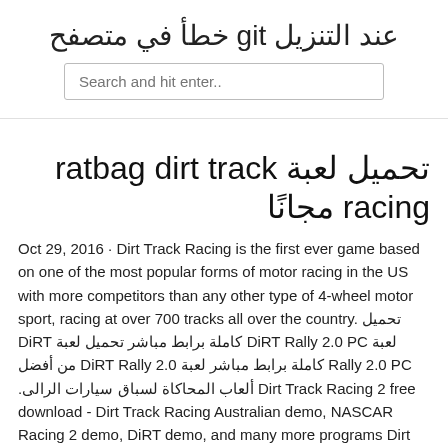عند التنزيل git خطأ في متصفح
Search and hit enter..
تحميل لعبة ratbag dirt track racing مجانًا
Oct 29, 2016 · Dirt Track Racing is the first ever game based on one of the most popular forms of motor racing in the US with more competitors than any other type of 4-wheel motor sport, racing at over 700 tracks all over the country. تحميل لعبة DiRT Rally 2.0 PC كاملة برابط مباشر تحميل لعبة DiRT Rally 2.0 PC كاملة برابط مباشر لعبة DiRT Rally 2.0 من أفضل ألعاب المحاكاة لسباق سيارات الرالى. Dirt Track Racing 2 free download - Dirt Track Racing Australian demo, NASCAR Racing 2 demo, DiRT demo, and many more programs Dirt Track Racing v1.02c. This patch for Dirt Track Racing can only